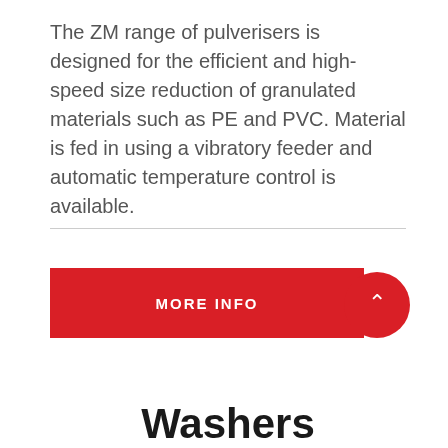The ZM range of pulverisers is designed for the efficient and high-speed size reduction of granulated materials such as PE and PVC. Material is fed in using a vibratory feeder and automatic temperature control is available.
[Figure (other): Red 'MORE INFO' button with a circular arrow-up icon on the right side]
Washers